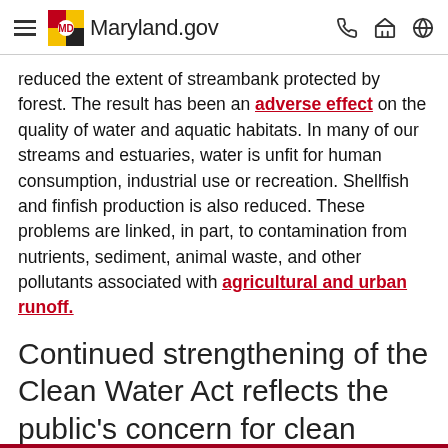Maryland.gov
reduced the extent of streambank protected by forest. The result has been an adverse effect on the quality of water and aquatic habitats. In many of our streams and estuaries, water is unfit for human consumption, industrial use or recreation. Shellfish and finfish production is also reduced. These problems are linked, in part, to contamination from nutrients, sediment, animal waste, and other pollutants associated with agricultural and urban runoff.
Continued strengthening of the Clean Water Act reflects the public's concern for clean water